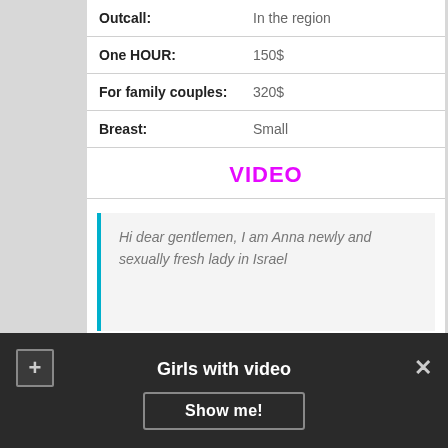| Field | Value |
| --- | --- |
| Outcall: | In the region |
| One HOUR: | 150$ |
| For family couples: | 320$ |
| Breast: | Small |
VIDEO
Hi dear gentlemen, I am Anna newly and sexually fresh lady in Israel
Brunilda
[Figure (photo): Partial photo of a woman outdoors, only top portion visible]
Girls with video
Show me!